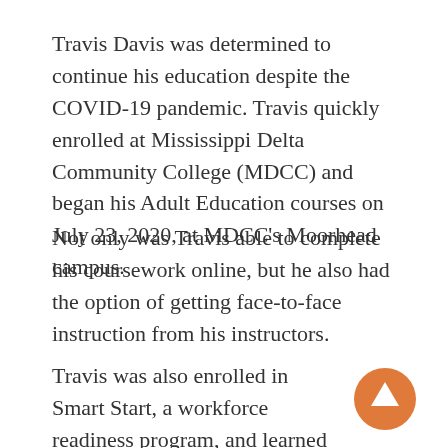Travis Davis was determined to continue his education despite the COVID-19 pandemic. Travis quickly enrolled at Mississippi Delta Community College (MDCC) and began his Adult Education courses on July 23, 2020, at MDCC's Moorhead campus.
Not only was Travis able to complete his coursework online, but he also had the option of getting face-to-face instruction from his instructors.
Travis was also enrolled in Smart Start, a workforce readiness program, and learned
[Figure (other): Orange circular button with a white upward-pointing arrow icon]